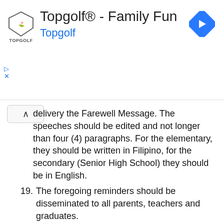[Figure (screenshot): Topgolf - Family Fun advertisement banner with Topgolf logo, navigation icon, play and close controls]
delivery the Farewell Message. The speeches should be edited and not longer than four (4) paragraphs. For the elementary, they should be written in Filipino, for the secondary (Senior High School) they should be in English.
19. The foregoing reminders should be disseminated to all parents, teachers and graduates.
20. The program shall be a one-page printed or mimeographed materials and should be in Filipino for the elementary and in English for the secondary. The list of graduating